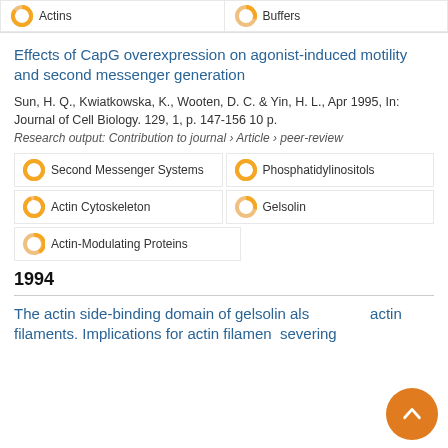Actins
Buffers
Effects of CapG overexpression on agonist-induced motility and second messenger generation
Sun, H. Q., Kwiatkowska, K., Wooten, D. C. & Yin, H. L., Apr 1995, In: Journal of Cell Biology. 129, 1, p. 147-156 10 p.
Research output: Contribution to journal › Article › peer-review
Second Messenger Systems
Phosphatidylinositols
Actin Cytoskeleton
Gelsolin
Actin-Modulating Proteins
1994
The actin side-binding domain of gelsolin also severs actin filaments. Implications for actin filament severing